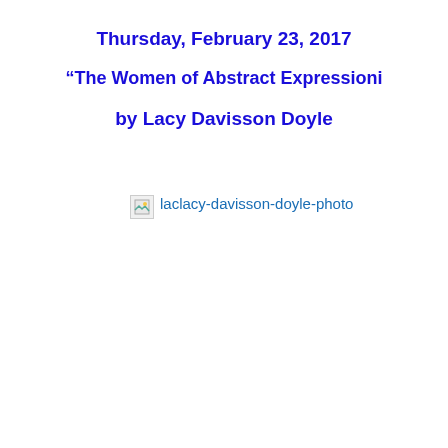Thursday, February 23, 2017
“The Women of Abstract Expressioni
by Lacy Davisson Doyle
[Figure (photo): Broken image placeholder linking to laclacy-davisson-doyle-photo]